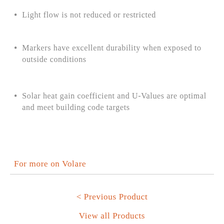Light flow is not reduced or restricted
Markers have excellent durability when exposed to outside conditions
Solar heat gain coefficient and U-Values are optimal and meet building code targets
For more on Volare
< Previous Product
View all Products